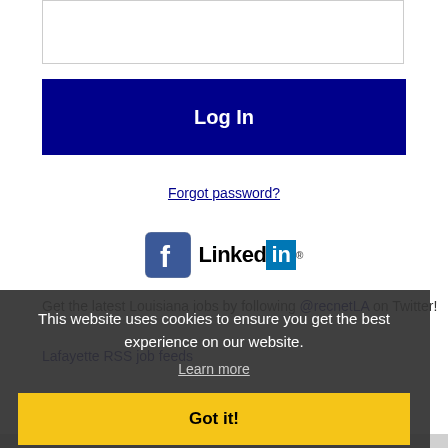[Figure (screenshot): Password input text field box at the top of a login form]
[Figure (screenshot): Dark blue Log In button]
Forgot password?
[Figure (screenshot): Facebook logo icon and LinkedIn logo side by side for social login]
Get the latest Louisiana jobs by following @recnetLA on Twitter!
Lafayette RSS job feeds
[Figure (screenshot): Cookie consent banner overlay with text: This website uses cookies to ensure you get the best experience on our website. Learn more. Got it! button.]